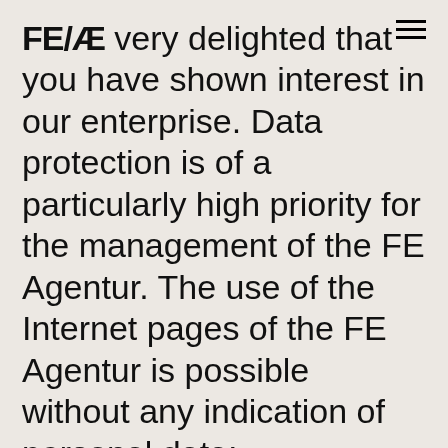We are very delighted that you have shown interest in our enterprise. Data protection is of a particularly high priority for the management of the FE Agentur. The use of the Internet pages of the FE Agentur is possible without any indication of personal data;
We use tracking cookies from Google Analytics on our website. Only when you accept will they be activated. More information
Deny
accept